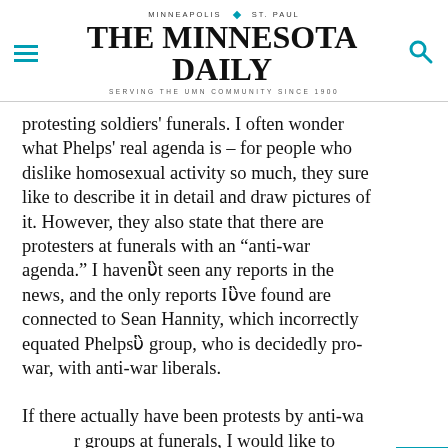MINNEAPOLIS  ◆  ST. PAUL
THE MINNESOTA DAILY
SERVING THE UMN COMMUNITY SINCE 1900
protesting soldiers' funerals. I often wonder what Phelps' real agenda is – for people who dislike homosexual activity so much, they sure like to describe it in detail and draw pictures of it. However, they also state that there are protesters at funerals with an “anti-war agenda.” I haven’t seen any reports in the news, and the only reports I’ve found are connected to Sean Hannity, which incorrectly equated Phelps’ group, who is decidedly pro-war, with anti-war liberals.
If there actually have been protests by anti-war groups at funerals, I would like to know about it. That would be uncalled for and morally reprehensible. I consider myself a liberal, but a